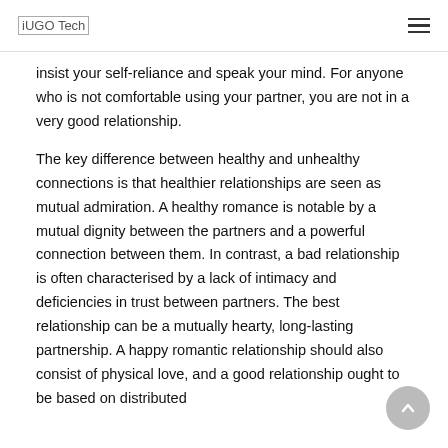iUGO Tech
insist your self-reliance and speak your mind. For anyone who is not comfortable using your partner, you are not in a very good relationship.
The key difference between healthy and unhealthy connections is that healthier relationships are seen as mutual admiration. A healthy romance is notable by a mutual dignity between the partners and a powerful connection between them. In contrast, a bad relationship is often characterised by a lack of intimacy and deficiencies in trust between partners. The best relationship can be a mutually hearty, long-lasting partnership. A happy romantic relationship should also consist of physical love, and a good relationship ought to be based on distributed